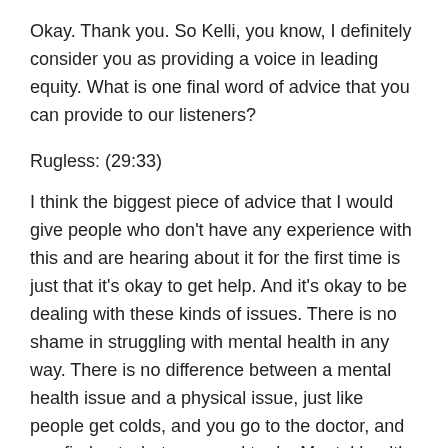Okay. Thank you. So Kelli, you know, I definitely consider you as providing a voice in leading equity. What is one final word of advice that you can provide to our listeners?
Rugless: (29:33)
I think the biggest piece of advice that I would give people who don't have any experience with this and are hearing about it for the first time is just that it's okay to get help. And it's okay to be dealing with these kinds of issues. There is no shame in struggling with mental health in any way. There is no difference between a mental health issue and a physical issue, just like people get colds, and you go to the doctor, and you find out what you need to do. Mental health is really the same way. And so I would